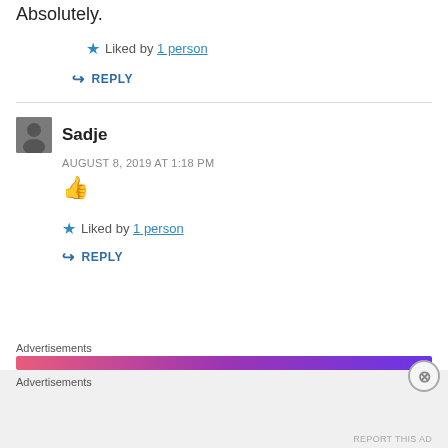Absolutely.
★ Liked by 1 person
↪ REPLY
Sadje
AUGUST 8, 2019 AT 1:18 PM
👍
★ Liked by 1 person
↪ REPLY
Advertisements
Advertisements
REPORT THIS AD